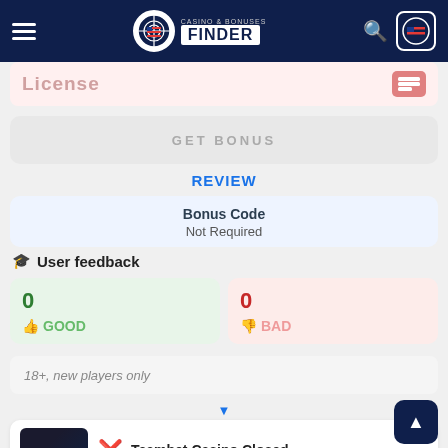Casino & Bonuses Finder
License
GET BONUS
REVIEW
Bonus Code
Not Required
User feedback
0 GOOD
0 BAD
18+, new players only
Teambet Casino Closed